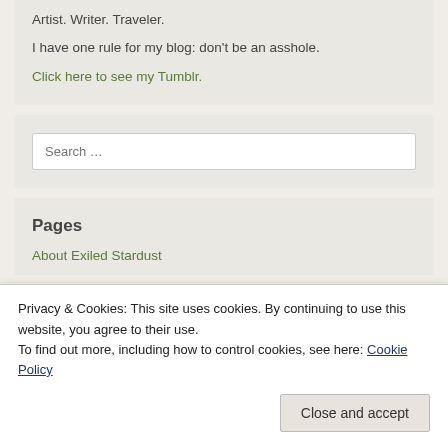Artist. Writer. Traveler.
I have one rule for my blog: don't be an asshole.
Click here to see my Tumblr.
Search ...
Pages
About Exiled Stardust
Privacy & Cookies: This site uses cookies. By continuing to use this website, you agree to their use.
To find out more, including how to control cookies, see here: Cookie Policy
Close and accept